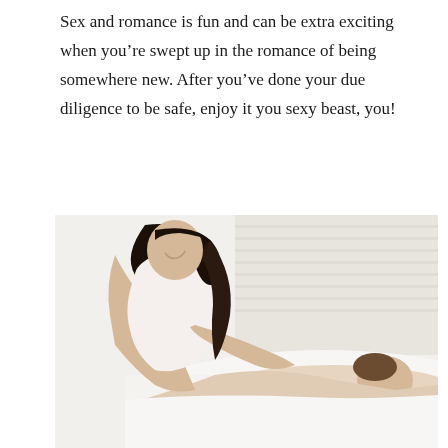Sex and romance is fun and can be extra exciting when you're swept up in the romance of being somewhere new. After you've done your due diligence to be safe, enjoy it you sexy beast, you!
[Figure (photo): A woman in white giving a massage to a man lying on a bed with white sheets]